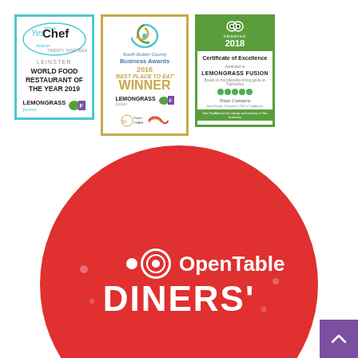[Figure (illustration): Three award certificates/logos displayed side by side. 1) YesChef Ireland Awards Twenty Nineteen - Leinster - World Food Restaurant of the Year 2019 - Lemongrass Fusion (blue border). 2) South Dublin County Business Awards 2016 'Best Place to Eat' WINNER - Lemongrass Fusion (gold border). 3) TripAdvisor 2018 Certificate of Excellence awarded to Lemongrass Fusion (green border).]
[Figure (logo): OpenTable Diners' Choice award badge - large red circle with OpenTable logo and text 'DINERS'' on a red circular background]